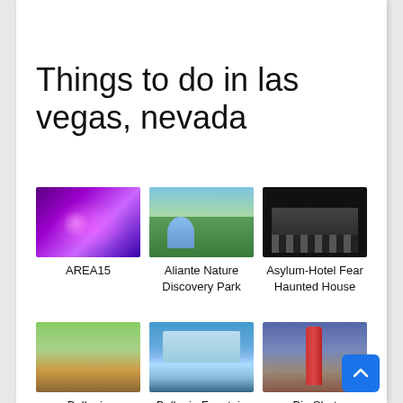Things to do in las vegas, nevada
[Figure (photo): AREA15 indoor event venue with purple neon lights]
AREA15
[Figure (photo): Aliante Nature Discovery Park with waterfall and green trees]
Aliante Nature Discovery Park
[Figure (photo): Asylum-Hotel Fear Haunted House dark building at night]
Asylum-Hotel Fear Haunted House
[Figure (photo): Bellagio Conservatory & Botanical garden interior]
Bellagio Conservatory & Botanical
[Figure (photo): Bellagio Fountain with hotel in background]
Bellagio Fountain
[Figure (photo): Big Shot ride tower at Stratosphere Casino]
Big Shot